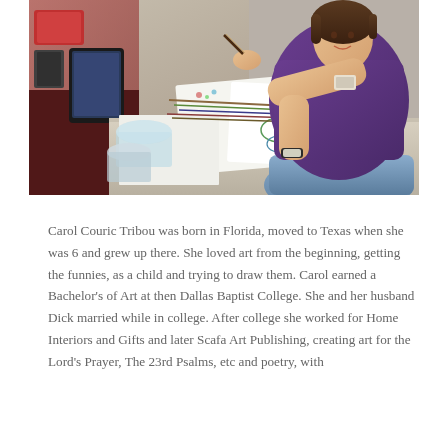[Figure (photo): A woman in a purple top sitting at a worktable covered with art supplies — watercolor paints, brushes, sketchbooks with butterfly sketches, water cups, and various craft materials. She is holding a brush and appears to be painting.]
Carol Couric Tribou was born in Florida, moved to Texas when she was 6 and grew up there. She loved art from the beginning, getting the funnies, as a child and trying to draw them. Carol earned a Bachelor's of Art at then Dallas Baptist College. She and her husband Dick married while in college. After college she worked for Home Interiors and Gifts and later Scafa Art Publishing, creating art for the Lord's Prayer, The 23rd Psalms, etc and poetry, with